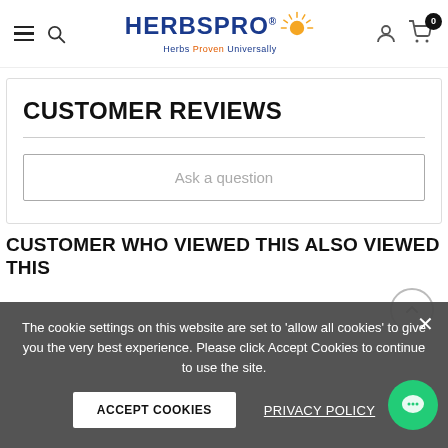HerbsPro - Herbs Proven Universally
CUSTOMER REVIEWS
Ask a question
CUSTOMER WHO VIEWED THIS ALSO VIEWED THIS
The cookie settings on this website are set to 'allow all cookies' to give you the very best experience. Please click Accept Cookies to continue to use the site.
ACCEPT COOKIES
PRIVACY POLICY